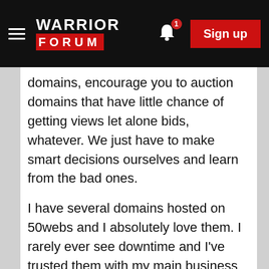WARRIOR FORUM — Sign up
domains, encourage you to auction domains that have little chance of getting views let alone bids, whatever. We just have to make smart decisions ourselves and learn from the bad ones.
I have several domains hosted on 50webs and I absolutely love them. I rarely ever see downtime and I've trusted them with my main business site for 5 years now. The only thing is that you can only have basic sites on the free plan (so no contact forms or